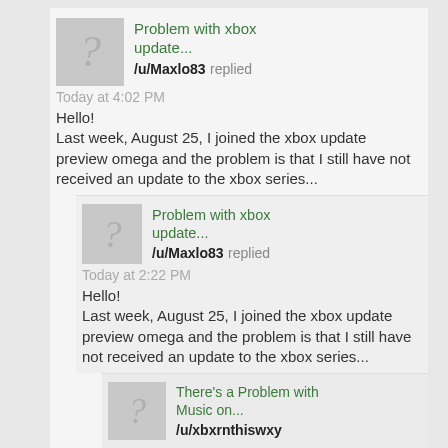[Figure (screenshot): Forum/community post thread showing two identical replies from /u/Maxlo83 about 'Problem with xbox update...' and a third post about 'There's a Problem with Music on...' from /u/xbxrnthiswxy. Each post has a grey avatar with a question mark.]
Problem with xbox update...
/u/Maxlo83 replied
Today at 4:02 PM
Hello!
Last week, August 25, I joined the xbox update preview omega and the problem is that I still have not received an update to the xbox series...
Problem with xbox update...
/u/Maxlo83 replied
Today at 2:22 PM
Hello!
Last week, August 25, I joined the xbox update preview omega and the problem is that I still have not received an update to the xbox series...
There's a Problem with Music on...
/u/xbxrnthiswxy
replied Today at 1:13 PM